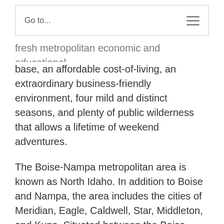Go to...
…fresh metropolitan economic and educational base, an affordable cost-of-living, an extraordinary business-friendly environment, four mild and distinct seasons, and plenty of public wilderness that allows a lifetime of weekend adventures.
The Boise-Nampa metropolitan area is known as North Idaho. In addition to Boise and Nampa, the area includes the cities of Meridian, Eagle, Caldwell, Star, Middleton, and Kuna. Situated between the Boise Mountains (or foothills) to the north and the Owyhee Mountain Range to the southwest, the valley provides abundant recreational activities within minutes from your home. In wintertime, these snow-covered ranges are simply…